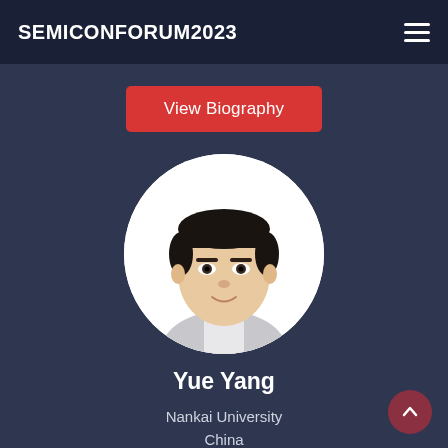SEMICONFORUM2023
View Biography
[Figure (photo): Circular headshot photo of Yue Yang, a man in a white shirt, against a white background]
Yue Yang
Nankai University
China